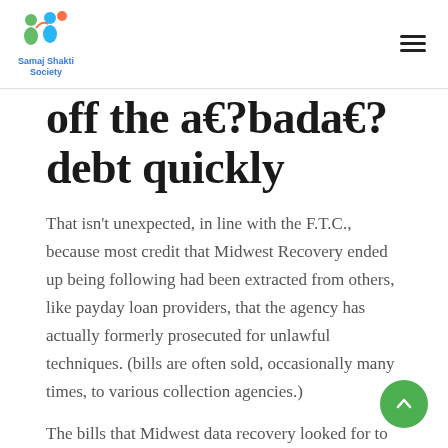Samaj Shakti Society
off the a€?bada€? debt quickly
That isn't unexpected, in line with the F.T.C., because most credit that Midwest Recovery ended up being following had been extracted from others, like payday loan providers, that the agency has actually formerly prosecuted for unlawful techniques. (bills are often sold, occasionally many times, to various collection agencies.)
The bills that Midwest data recovery looked for to collect provided payday loans, several of which